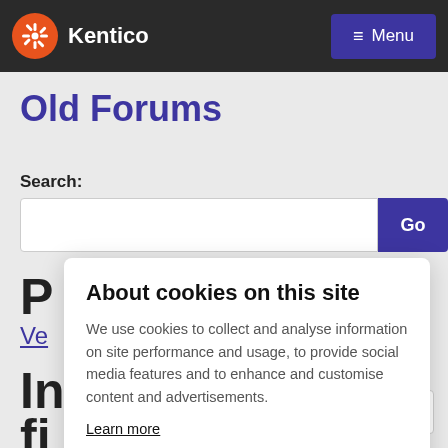Kentico | Menu
Old Forums
Search:
P
Ve
In
fi
About cookies on this site
We use cookies to collect and analyse information on site performance and usage, to provide social media features and to enhance and customise content and advertisements.
Learn more
ALLOW ALL COOKIES